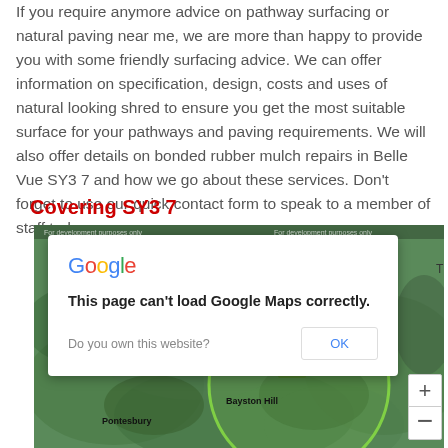If you require anymore advice on pathway surfacing or natural paving near me, we are more than happy to provide you with some friendly surfacing advice. We can offer information on specification, design, costs and uses of natural looking shred to ensure you get the most suitable surface for your pathways and paving requirements. We will also offer details on bonded rubber mulch repairs in Belle Vue SY3 7 and how we go about these services. Don't forget to use our quick contact form to speak to a member of staff today.
Covering SY3 7
[Figure (screenshot): Google Maps embed showing area around SY3 7 (Bayston Hill, Pontesbury area) with a green overlay circle. An error dialog is displayed: 'This page can't load Google Maps correctly.' with an OK button and 'Do you own this website?' text. Map zoom controls (+/-) visible on right side.]